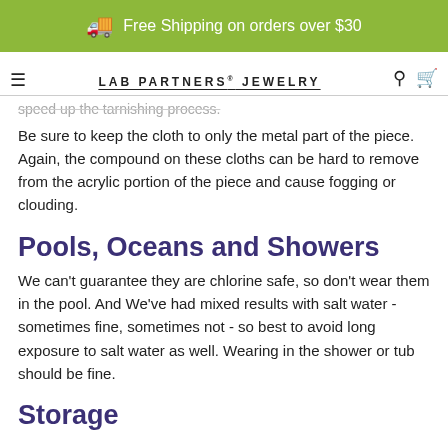Free Shipping on orders over $30
LAB PARTNERS® JEWELRY
speed up the tarnishing process.
Be sure to keep the cloth to only the metal part of the piece.  Again, the compound on these cloths can be hard to remove from the acrylic portion of the piece and cause fogging or clouding.
Pools, Oceans and Showers
We can't guarantee they are chlorine safe, so don't wear them in the pool.  And We've had mixed results with salt water - sometimes fine, sometimes not - so best to avoid long exposure to salt water as well. Wearing in the shower or tub should be fine.
Storage